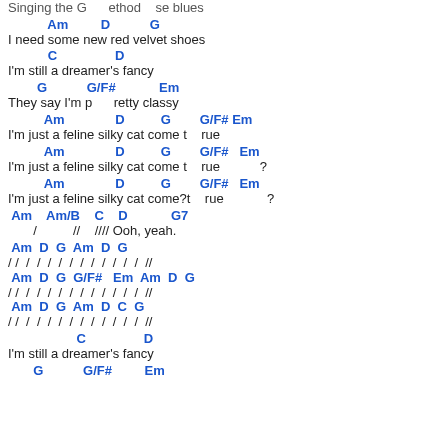Singing the G      ethod    se blues
Am         D           G
I need some new red velvet shoes
C                D
I'm still a dreamer's fancy
G           G/F#            Em
They say I'm p      retty classy
Am              D          G        G/F# Em
I'm just a feline silky cat come t    rue
Am             D          G        G/F#   Em
I'm just a feline silky cat come t    rue          ?
Am             D          G        G/F#   Em
I'm just a feline silky cat come?t    rue           ?
Am    Am/B    C    D            G7
      /          //    //// Ooh, yeah.
Am  D  G  Am  D  G
/  /  /  /  /  /  /  /  /  /  /  /  /  //
Am  D  G  G/F#   Em  Am  D  G
/  /  /  /  /  /  /  /  /  /  /  /  /  //
Am  D  G  Am  D  C  G
/  /  /  /  /  /  /  /  /  /  /  /  /  //
C                D
I'm still a dreamer's fancy
G           G/F#         Em